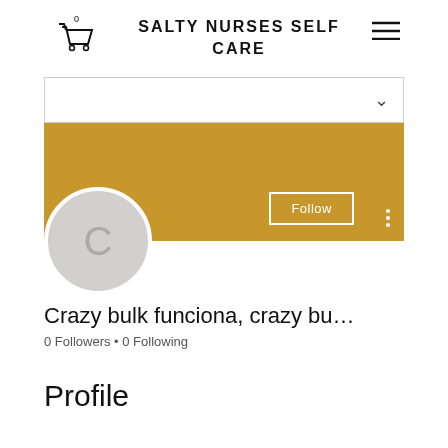SALTY NURSES SELF CARE
[Figure (screenshot): Dropdown bar with chevron]
[Figure (screenshot): Gold profile banner with Follow button and more options dots]
[Figure (screenshot): Gray circular avatar with letter C]
Crazy bulk funciona, crazy bu…
0 Followers • 0 Following
Profile